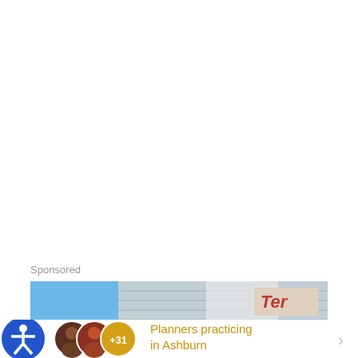Sponsored
[Figure (photo): Sponsored advertisement showing workers installing a door or window on a house with blue vinyl siding. A partial sign with letters visible is being held up.]
[Figure (illustration): Accessibility icon (blue circle with white person figure). Two profile avatars and a gold circle showing +31 count.]
Planners practicing in Ashburn